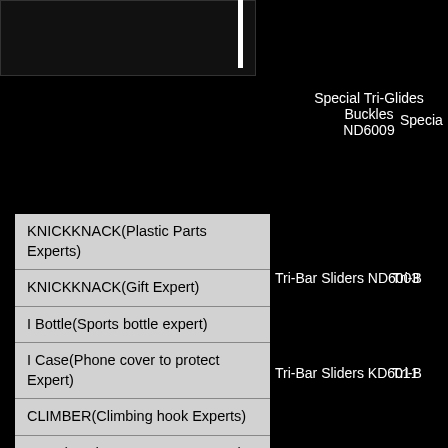Special Tri-Glides Buckles ND6009
Specia
KNICKKNACK(Plastic Parts Experts)
KNICKKNACK(Gift Expert)
I Bottle(Sports bottle expert)
I Case(Phone cover to protect Expert)
CLIMBER(Climbing hook Experts)
NIKO(Hardware BUCKLE Expert)
O!Kobot
Tri-Bar Sliders ND6003
Tri-B
Tri-Bar Sliders KD6011
Tri-B